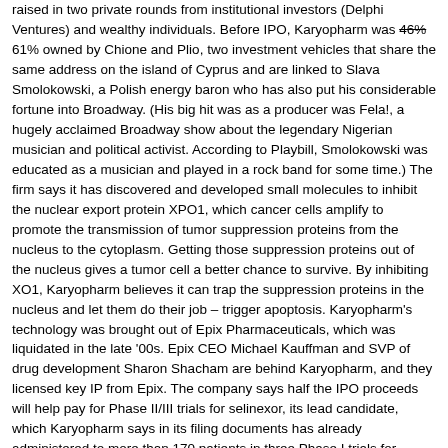raised in two private rounds from institutional investors (Delphi Ventures) and wealthy individuals. Before IPO, Karyopharm was 46% 61% owned by Chione and Plio, two investment vehicles that share the same address on the island of Cyprus and are linked to Slava Smolokowski, a Polish energy baron who has also put his considerable fortune into Broadway. (His big hit was as a producer was Fela!, a hugely acclaimed Broadway show about the legendary Nigerian musician and political activist. According to Playbill, Smolokowski was educated as a musician and played in a rock band for some time.) The firm says it has discovered and developed small molecules to inhibit the nuclear export protein XPO1, which cancer cells amplify to promote the transmission of tumor suppression proteins from the nucleus to the cytoplasm. Getting those suppression proteins out of the nucleus gives a tumor cell a better chance to survive. By inhibiting XO1, Karyopharm believes it can trap the suppression proteins in the nucleus and let them do their job – trigger apoptosis. Karyopharm's technology was brought out of Epix Pharmaceuticals, which was liquidated in the late '00s. Epix CEO Michael Kauffman and SVP of drug development Sharon Shacham are behind Karyopharm, and they licensed key IP from Epix. The company says half the IPO proceeds will help pay for Phase II/III trials for selinexor, its lead candidate, which Karyopharm says in its filing documents has already administered to more than 170 patients in three Phase I trials for various indications. Phase II/III and last-in-category, er, indication is the first...